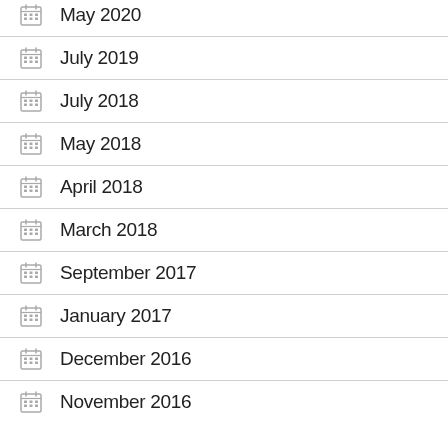May 2020
July 2019
July 2018
May 2018
April 2018
March 2018
September 2017
January 2017
December 2016
November 2016